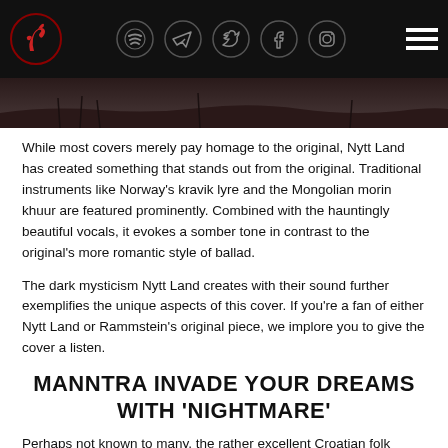Navigation header with logo and social media icons (Spotify, Telegram, Twitter, Facebook, Instagram) and hamburger menu
[Figure (photo): Dark atmospheric photo strip showing a moody sky/landscape scene]
While most covers merely pay homage to the original, Nytt Land has created something that stands out from the original. Traditional instruments like Norway's kravik lyre and the Mongolian morin khuur are featured prominently. Combined with the hauntingly beautiful vocals, it evokes a somber tone in contrast to the original's more romantic style of ballad.
The dark mysticism Nytt Land creates with their sound further exemplifies the unique aspects of this cover. If you're a fan of either Nytt Land or Rammstein's original piece, we implore you to give the cover a listen.
MANNTRA INVADE YOUR DREAMS WITH 'NIGHTMARE'
Perhaps not known to many, the rather excellent Croatian folk metal band Manntra recently released 'Nightmare' from their 2020 album. If you're a metal band, you'd be in The coverage...